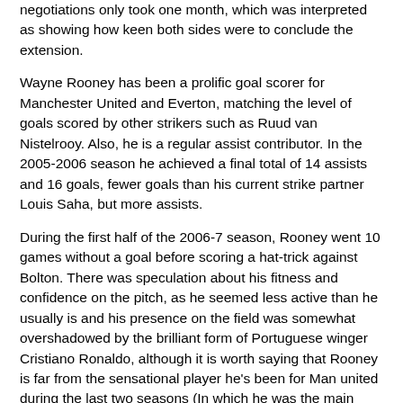negotiations only took one month, which was interpreted as showing how keen both sides were to conclude the extension.
Wayne Rooney has been a prolific goal scorer for Manchester United and Everton, matching the level of goals scored by other strikers such as Ruud van Nistelrooy. Also, he is a regular assist contributor. In the 2005-2006 season he achieved a final total of 14 assists and 16 goals, fewer goals than his current strike partner Louis Saha, but more assists.
During the first half of the 2006-7 season, Rooney went 10 games without a goal before scoring a hat-trick against Bolton. There was speculation about his fitness and confidence on the pitch, as he seemed less active than he usually is and his presence on the field was somewhat overshadowed by the brilliant form of Portuguese winger Cristiano Ronaldo, although it is worth saying that Rooney is far from the sensational player he's been for Man united during the last two seasons (In which he was the main force and influnce of the team, much like what Cristiano Ronaldo is now). Rooney's scoring rate had been matched by Louis Saha and exceeded by Cristiano Ronaldo, a winger. Nevertheless, as of February 2007 he was the top English goalscorer in the Premiership, and had received significantly fewer bookings than in previous seasons. In the FA Cup tie against Portsmouth, Rooney came on as a substitute and scored two goals, one of which being a superb 25-yard chip over goalkeeper David James, and soon after scored two of United's four goals in the derby against Bolton. Despite getting back on the score sheet, Rooney's form was considerably lower than that of the